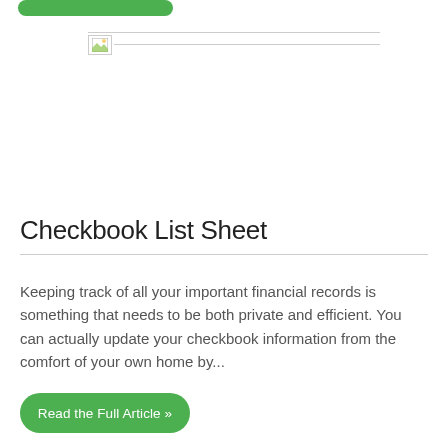[Figure (other): Green button at top of page (partially visible)]
[Figure (other): Broken image placeholder with gray border line]
Checkbook List Sheet
Keeping track of all your important financial records is something that needs to be both private and efficient. You can actually update your checkbook information from the comfort of your own home by...
[Figure (other): Green 'Read the Full Article »' button]